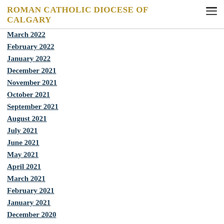ROMAN CATHOLIC DIOCESE OF CALGARY
March 2022
February 2022
January 2022
December 2021
November 2021
October 2021
September 2021
August 2021
July 2021
June 2021
May 2021
April 2021
March 2021
February 2021
January 2021
December 2020